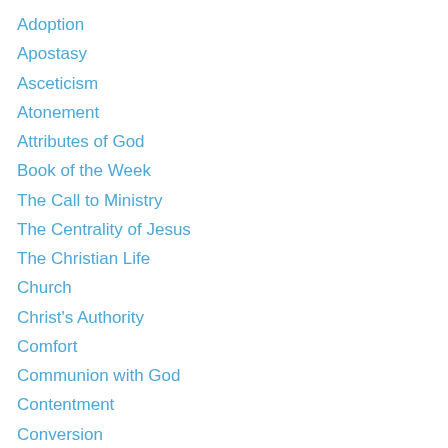Adoption
Apostasy
Asceticism
Atonement
Attributes of God
Book of the Week
The Call to Ministry
The Centrality of Jesus
The Christian Life
Church
Christ's Authority
Comfort
Communion with God
Contentment
Conversion
Election
Epistemology
Evangelism
Godliness
God's Faithfulness